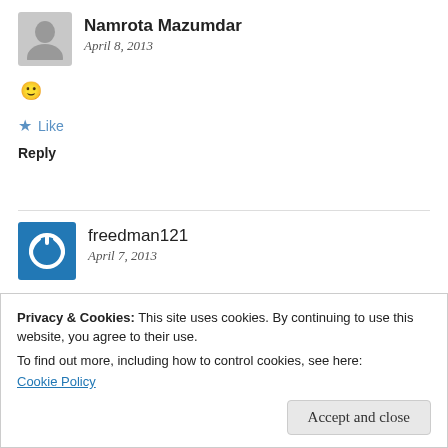Namrota Mazumdar
April 8, 2013
🙂
★ Like
Reply
freedman121
April 7, 2013
When you were in Turkey did you not visit the Haga Sofia or t i r n y b
Privacy & Cookies: This site uses cookies. By continuing to use this website, you agree to their use. To find out more, including how to control cookies, see here: Cookie Policy
Accept and close